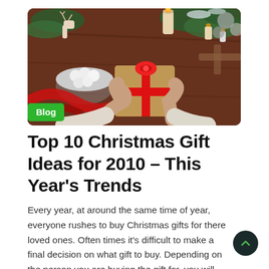[Figure (photo): Overhead view of person wrapping a Christmas gift with red ribbon on a wooden table, surrounded by pine branches, candles, decorative reindeer, and holiday decorations]
Blog
Top 10 Christmas Gift Ideas for 2010 – This Year's Trends
Every year, at around the same time of year, everyone rushes to buy Christmas gifts for there loved ones. Often times it's difficult to make a final decision on what gift to buy. Depending on the person you are buying the gift for, you will want to use a different thought process in